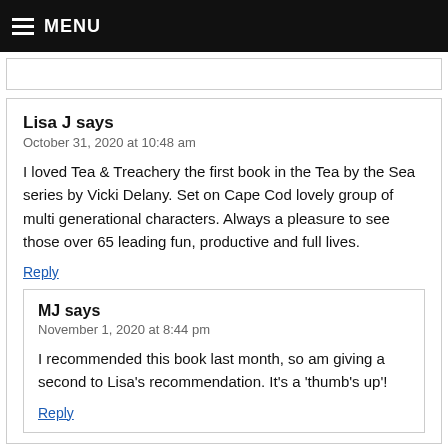MENU
Lisa J says
October 31, 2020 at 10:48 am
I loved Tea & Treachery the first book in the Tea by the Sea series by Vicki Delany. Set on Cape Cod lovely group of multi generational characters. Always a pleasure to see those over 65 leading fun, productive and full lives.
Reply
MJ says
November 1, 2020 at 8:44 pm
I recommended this book last month, so am giving a second to Lisa's recommendation. It's a 'thumb's up'!
Reply